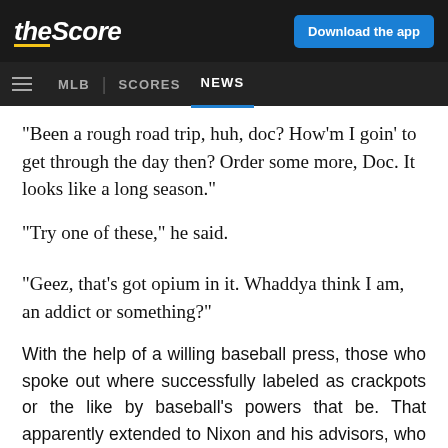theScore | Download the app
MLB | SCORES NEWS
"Been a rough road trip, huh, doc? How'm I goin' to get through the day then? Order some more, Doc. It looks like a long season."
"Try one of these," he said.
"Geez, that's got opium in it. Whaddya think I am, an addict or something?"
With the help of a willing baseball press, those who spoke out where successfully labeled as crackpots or the like by baseball's powers that be. That apparently extended to Nixon and his advisors, who felt Kuhn's unsubstantial education program was not just enough